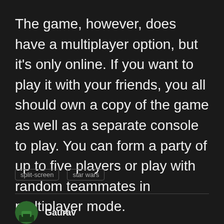The game, however, does have a multiplayer option, but it's only online. If you want to play it with your friends, you all should own a copy of the game as well as a separate console to play. You can form a party of up to five players or play with random teammates in multiplayer mode.
split-screen
star wars
Gaurav